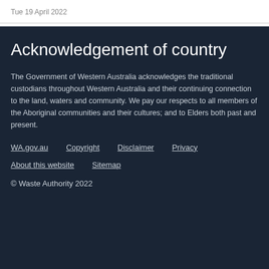Tue 19 April 2022
Acknowledgement of country
The Government of Western Australia acknowledges the traditional custodians throughout Western Australia and their continuing connection to the land, waters and community. We pay our respects to all members of the Aboriginal communities and their cultures; and to Elders both past and present.
WA.gov.au    Copyright    Disclaimer    Privacy
About this website    Sitemap
© Waste Authority 2022